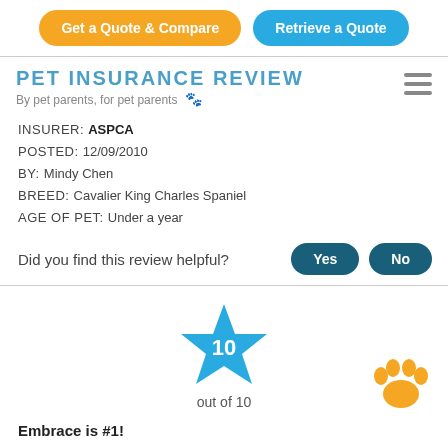[Figure (other): Two buttons: 'Get a Quote & Compare' (orange/yellow) and 'Retrieve a Quote' (blue)]
[Figure (logo): Pet Insurance Review logo with text 'PET INSURANCE REVIEW' and tagline 'By pet parents, for pet parents' with paw print emoji]
INSURER: ASPCA
POSTED: 12/09/2010
BY: Mindy Chen
BREED: Cavalier King Charles Spaniel
AGE OF PET: Under a year
Did you find this review helpful?
[Figure (infographic): Blue star with number 10 inside, labeled 'out of 10' below, and an orange paw print in the bottom right]
Embrace is #1!